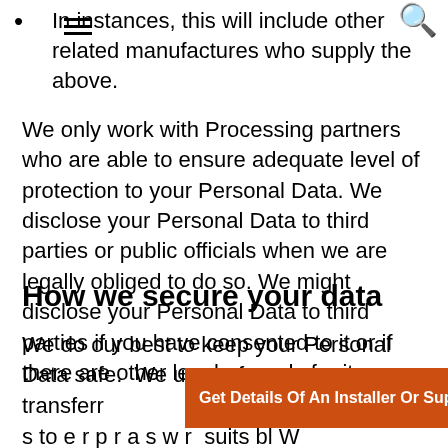In instances, this will include other related manufactures who supply the above.
We only work with Processing partners who are able to ensure adequate level of protection to your Personal Data. We disclose your Personal Data to third parties or public officials when we are legally obliged to do so. We might disclose your Personal Data to third parties if you have consented to it or if there are other legal grounds for it.
How we secure your data
We do our best to keep your Personal Data safe.  We use safe p
[Figure (other): Orange CTA banner with text: Get Details Of An Installer Or Supplier →]
transferr
s to e r p r a s w r suits bl W